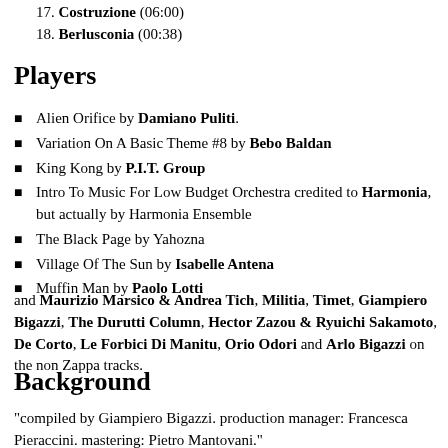17. Costruzione (06:00)
18. Berlusconia (00:38)
Players
Alien Orifice by Damiano Puliti.
Variation On A Basic Theme #8 by Bebo Baldan
King Kong by P.I.T. Group
Intro To Music For Low Budget Orchestra credited to Harmonia, but actually by Harmonia Ensemble
The Black Page by Yahozna
Village Of The Sun by Isabelle Antena
Muffin Man by Paolo Lotti
and Maurizio Marsico & Andrea Tich, Militia, Timet, Giampiero Bigazzi, The Durutti Column, Hector Zazou & Ryuichi Sakamoto, De Corto, Le Forbici Di Manitu, Orio Odori and Arlo Bigazzi on the non Zappa tracks.
Background
"compiled by Giampiero Bigazzi. production manager: Francesca Pieraccini. mastering: Pietro Mantovani."